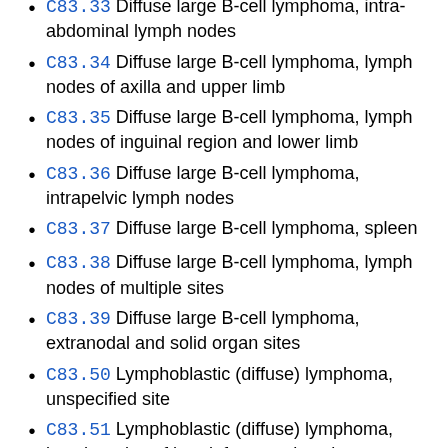C83.33 Diffuse large B-cell lymphoma, intra-abdominal lymph nodes
C83.34 Diffuse large B-cell lymphoma, lymph nodes of axilla and upper limb
C83.35 Diffuse large B-cell lymphoma, lymph nodes of inguinal region and lower limb
C83.36 Diffuse large B-cell lymphoma, intrapelvic lymph nodes
C83.37 Diffuse large B-cell lymphoma, spleen
C83.38 Diffuse large B-cell lymphoma, lymph nodes of multiple sites
C83.39 Diffuse large B-cell lymphoma, extranodal and solid organ sites
C83.50 Lymphoblastic (diffuse) lymphoma, unspecified site
C83.51 Lymphoblastic (diffuse) lymphoma, lymph nodes of head, face, and neck
C83.52 Lymphoblastic (diffuse) lymphoma, intrathoracic lymph nodes
C83.53 Lymphoblastic (diffuse) lymphoma, intra-abdominal lymph nodes
C83.54 Lymphoblastic (diffuse) lymphoma, lymph nodes of axilla and upper limb
C83.55 Lymphoblastic (diffuse) lymphoma, lymph nodes of inguinal region and lower limb